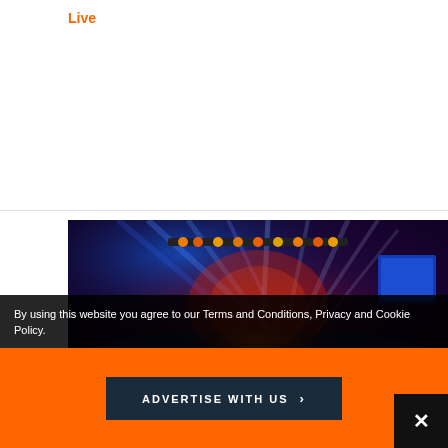Live
[Figure (photo): Concert stage with dramatic blue and red lighting, spotlights, and a crowd visible in the foreground]
By using this website you agree to our Terms and Conditions, Privacy and Cookie Policy.
ADVERTISE WITH US >